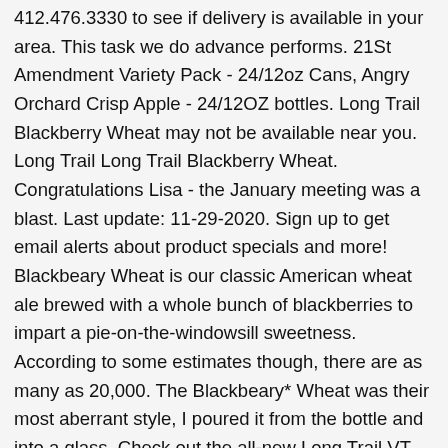412.476.3330 to see if delivery is available in your area. This task we do advance performs. 21St Amendment Variety Pack - 24/12oz Cans, Angry Orchard Crisp Apple - 24/12OZ bottles. Long Trail Blackberry Wheat may not be available near you. Long Trail Long Trail Blackberry Wheat. Congratulations Lisa - the January meeting was a blast. Last update: 11-29-2020. Sign up to get email alerts about product specials and more! Blackbeary Wheat is our classic American wheat ale brewed with a whole bunch of blackberries to impart a pie-on-the-windowsill sweetness. According to some estimates though, there are as many as 20,000. The Blackbeary* Wheat was their most aberrant style, I poured it from the bottle and into a glass. Check out the all-new Long Trail VT IPA, and sample seasonal faves including the Long Trail Cranberry Gose and Blackbeary Wheat. The taste is about the same, with water being the main taste that comes through, along with a hint of hops, and maybe some corn. You can find more information in our Cookie Policy Cookie Notice. Beer, at its most basic, is a fermented alcoholic beverage made from water and cereal grains, but there